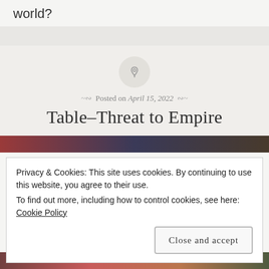world?
[Figure (illustration): Gray decorative bar separator]
[Figure (illustration): Pin/pushpin icon inside a light gray circle]
Posted on April 15, 2022
Table–Threat to Empire
[Figure (photo): Partial photo strip of food/table scene visible at top and bottom]
Privacy & Cookies: This site uses cookies. By continuing to use this website, you agree to their use.
To find out more, including how to control cookies, see here: Cookie Policy
Close and accept